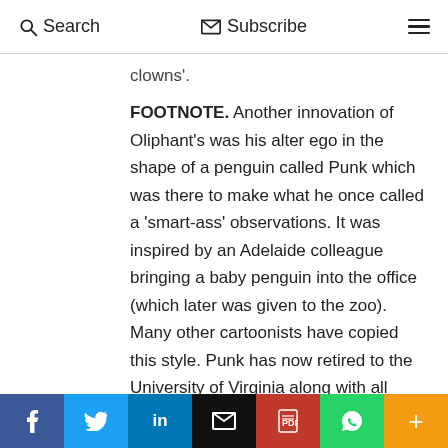Search  Subscribe
clowns'.
FOOTNOTE. Another innovation of Oliphant's was his alter ego in the shape of a penguin called Punk which was there to make what he once called a 'smart-ass' observations. It was inspired by an Adelaide colleague bringing a baby penguin into the office (which later was given to the zoo). Many other cartoonists have copied this style. Punk has now retired to the University of Virginia along with all those thousands of cartoons and other works Oliphant did not give away. UVa Press is planning a book on his life and
f  t  in  [mail]  [pdf]  [whatsapp]  +